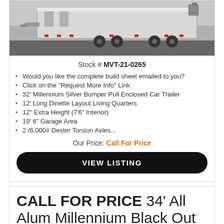[Figure (photo): Photo of a silver enclosed car trailer/living quarters unit shown from the side in a parking lot.]
Stock # MVT-21-0265
Would you like the complete build sheet emailed to you?
Click on the "Request More Info" Link
32' Millennium Silver Bumper Pull Enclosed Car Trailer
12' Long Dinette Layout Living Quarters
12" Extra Height (7'6" Interior)
19' 6" Garage Area
2 /6,000# Dexter Torsion Axles...
Our Price: Call For Price
VIEW LISTING
CALL FOR PRICE 34' All Alum Millennium Black Out Enclosed Trailer/ Spread Triaxle with NEW Color Powersl Ch...